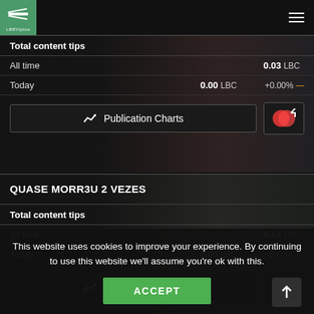LBRYlytics
Total content tips
All time   0.03 LBC
Today   0.00 LBC   +0.00% —
Publication Charts
QUASE MORR3U 2 VEZES
Total content tips
All time   0.14 LBC
Today   0.00 LBC   +0.00% —
Publication Charts
This website uses cookies to improve your experience. By continuing to use this website we'll assume you're ok with this.
ACCEPT